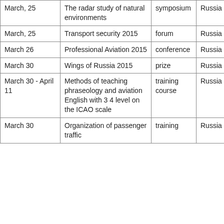| Date | Event | Type | Country |
| --- | --- | --- | --- |
| March, 25 | The radar study of natural environments | symposium | Russia |
| March, 25 | Transport security 2015 | forum | Russia |
| March 26 | Professional Aviation 2015 | conference | Russia |
| March 30 | Wings of Russia 2015 | prize | Russia |
| March 30 - April 11 | Methods of teaching phraseology and aviation English with 3 4 level on the ICAO scale | training course | Russia |
| March 30 | Organization of passenger traffic | training | Russia |